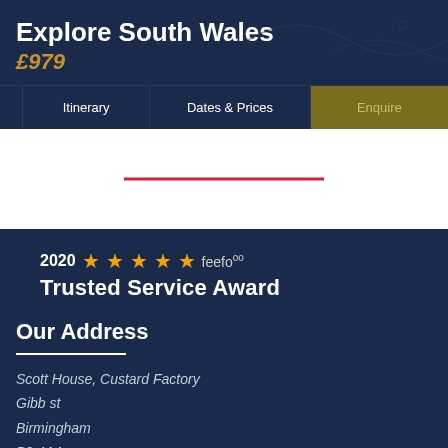Explore South Wales
£979
Itinerary | Dates & Prices | Enquire
[Figure (infographic): 2020 five-star Feefo Trusted Service Award badge with gold stars]
Our Address
Scott House, Custard Factory
Gibb st
Birmingham
B9 4AA